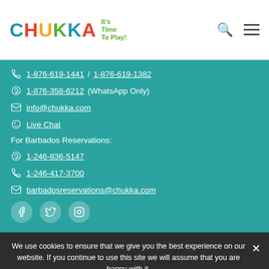CHUKKA It's Time To Play!
1-876-619-1441 / 1-876-619-1382
1-876-358-6212 (WhatsApp Only)
info@chukka.com
Live Chat
For Barbados Reservations:
1-246-836-5147
1-246-417-3700
barbadosreservations@chukka.com
[Figure (other): Social media icons: Facebook, Twitter, Instagram]
We use cookies to ensure that we give you the best experience on our website. If you continue to use this site we will assume that you are happy with it.